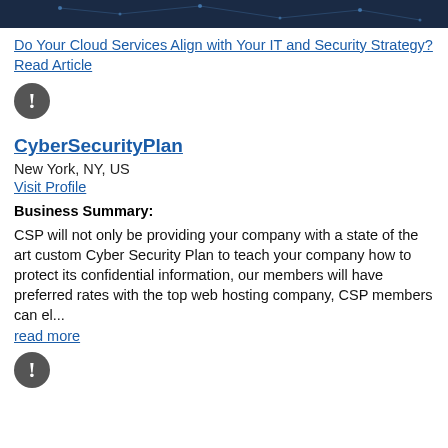[Figure (photo): Dark blue tech-themed header image with network/node graphic pattern]
Do Your Cloud Services Align with Your IT and Security Strategy? Read Article
[Figure (other): Dark grey circle with white exclamation mark icon]
CyberSecurityPlan
New York, NY, US
Visit Profile
Business Summary:
CSP will not only be providing your company with a state of the art custom Cyber Security Plan to teach your company how to protect its confidential information, our members will have preferred rates with the top web hosting company, CSP members can el... read more
[Figure (other): Dark grey circle with white exclamation mark icon]